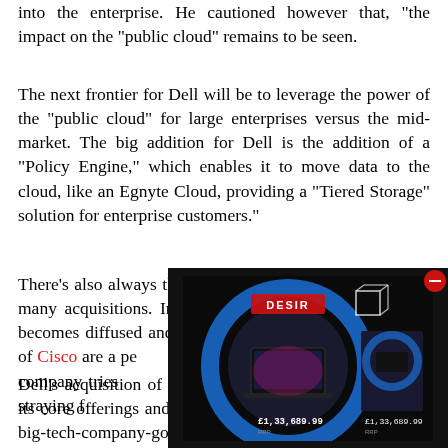into the enterprise. He cautioned however that, "the impact on the \"public cloud\" remains to be seen."
The next frontier for Dell will be to leverage the power of the "public cloud" for large enterprises versus the mid-market. The big addition for Dell is the addition of a "Policy Engine," which enables it to move data to the cloud, like an Egnyte Cloud, providing a "Tiered Storage" solution for enterprise customers."
There's also always the danger that a company makes too many acquisitions. Instead of diversifying, the company becomes diffused and unfocused. The current tribulations of Cisco are a perfect example of what happens when a company tries to compete in too many different markets, straying from...
[Figure (other): Advertisement image showing a product box (possibly a game or software) with a circular design, branded 'DESIR', with a price tag showing '£1,33,689.99'. There is a red close/dismiss button in the top right corner of the ad.]
Dell's acquisition of Force 10, however, is a nice fit into its core offerings and capabilities. It seems the trend of big-tech-company-gobbling-small-tech-